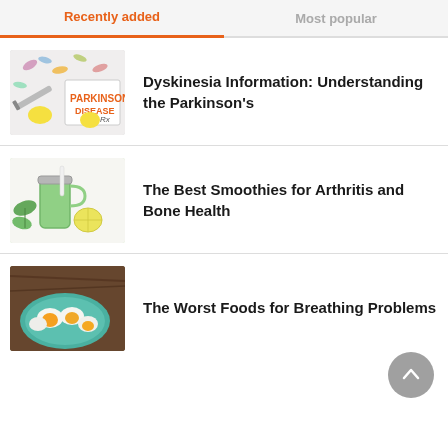Recently added
Most popular
[Figure (photo): Parkinson's disease article thumbnail: medical items with text 'Parkinson's Disease']
Dyskinesia Information: Understanding the Parkinson's
[Figure (photo): Smoothies article thumbnail: green smoothie with vegetables]
The Best Smoothies for Arthritis and Bone Health
[Figure (photo): Breathing problems article thumbnail: eggs on a teal plate]
The Worst Foods for Breathing Problems